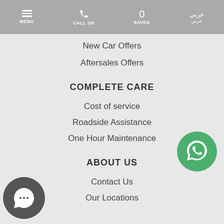MENU | CALL US | 0 SAVED | عربي
New Car Offers
Aftersales Offers
COMPLETE CARE
Cost of service
Roadside Assistance
One Hour Maintenance
ABOUT US
Contact Us
Our Locations
[Figure (illustration): WhatsApp green circle button with phone handset icon]
[Figure (illustration): Dark grey circle chat/message button]